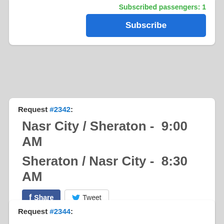Subscribed passengers: 1
Subscribe
Request #2342:
Nasr City / Sheraton -  9:00 AM
Sheraton / Nasr City -  8:30 AM
Share  Tweet
If this request is similar to what you need, Subscribe now and we will call you once this route is created.
Subscribed passengers: 1
Subscribe
Request #2344: